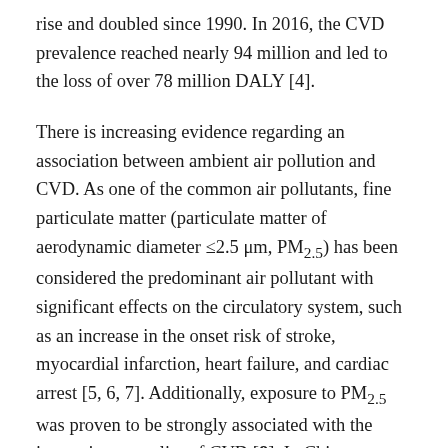rise and doubled since 1990. In 2016, the CVD prevalence reached nearly 94 million and led to the loss of over 78 million DALY [4].
There is increasing evidence regarding an association between ambient air pollution and CVD. As one of the common air pollutants, fine particulate matter (particulate matter of aerodynamic diameter ≤2.5 μm, PM2.5) has been considered the predominant air pollutant with significant effects on the circulatory system, such as an increase in the onset risk of stroke, myocardial infarction, heart failure, and cardiac arrest [5, 6, 7]. Additionally, exposure to PM2.5 was proven to be strongly associated with the increasing mortality of CVD [8]. In China, although the link between fine